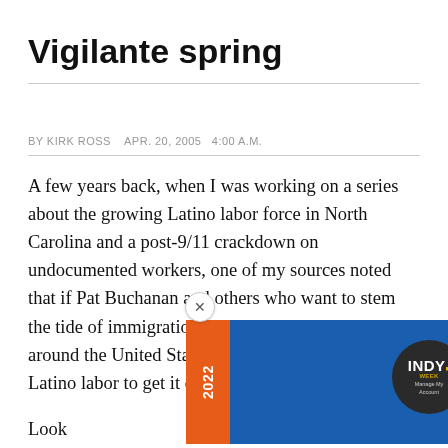Vigilante spring
BY KIRK ROSS   APR. 20, 2005  4:00 A.M.
A few years back, when I was working on a series about the growing Latino labor force in North Carolina and a post-9/11 crackdown on undocumented workers, one of my sources noted that if Pat Buchanan and others who want to stem the tide of immigration got to build their wall around the United States, they would have to rely on Latino labor to get it done.
Look a... building... in the c... gle and the me...
[Figure (advertisement): 2022 Centerfest Arts Festival advertisement banner with orange, blue, and yellow colors, overlaid on article text. Includes INDY Week logo circle with 'Manage My Account' text and a close button.]